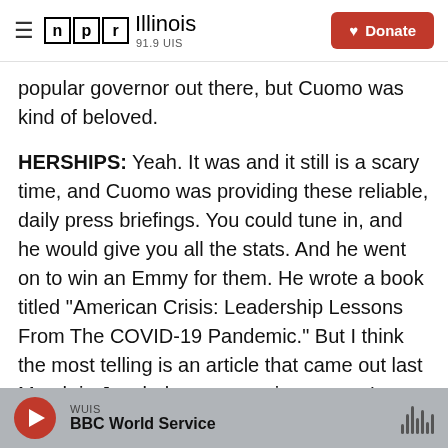NPR Illinois 91.9 UIS | Donate
popular governor out there, but Cuomo was kind of beloved.
HERSHIPS: Yeah. It was and it still is a scary time, and Cuomo was providing these reliable, daily press briefings. You could tune in, and he would give you all the stats. And he went on to win an Emmy for them. He wrote a book titled "American Crisis: Leadership Lessons From The COVID-19 Pandemic." But I think the most telling is an article that came out last March in Jezebel, a progressive women's magazine, titled "Help, I Think I'm In Love with Andrew Cuomo???" That sort of captures the
WUIS
BBC World Service